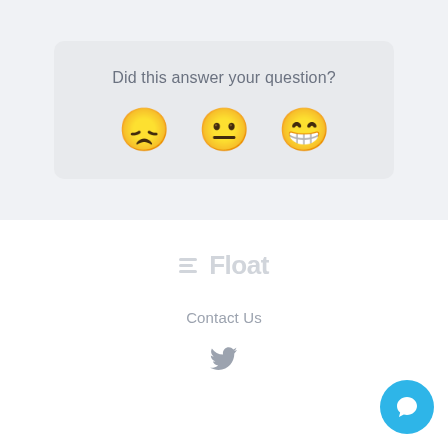Did this answer your question?
[Figure (illustration): Three emoji faces: sad (frowning), neutral, and happy (grinning) for feedback rating]
[Figure (logo): Float logo with hamburger menu icon and 'Float' text in light gray]
Contact Us
[Figure (illustration): Twitter bird icon in gray]
[Figure (illustration): Blue circular chat bubble button in bottom right corner]